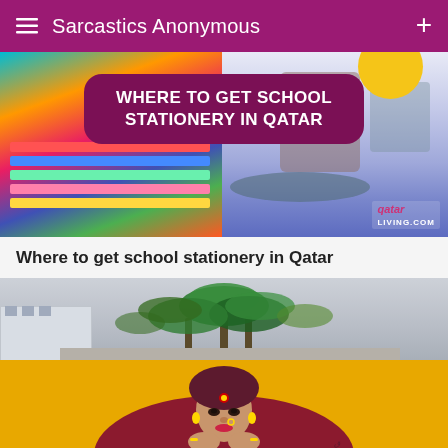Sarcastics Anonymous
[Figure (photo): Article thumbnail showing school stationery store shelves on the left and a modern library/bookstore interior on the right, with a purple rounded rectangle overlay reading WHERE TO GET SCHOOL STATIONERY IN QATAR, and Qatar Living logo watermark bottom right.]
Where to get school stationery in Qatar
[Figure (photo): Article thumbnail showing palm trees against a grey sky with a white building on the left, and below that a yellow-background mural with a woman in traditional South Asian dress looking forward with her hands under her chin.]